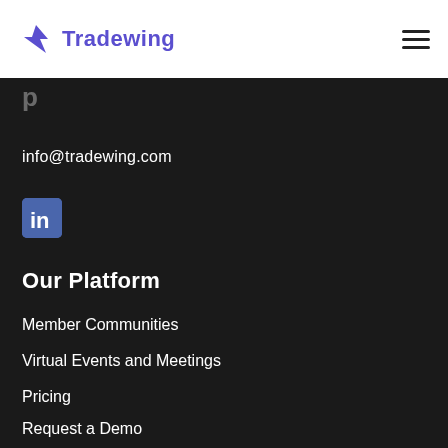Tradewing
info@tradewing.com
[Figure (logo): LinkedIn icon — blue rounded square with white 'in' lettermark]
Our Platform
Member Communities
Virtual Events and Meetings
Pricing
Request a Demo